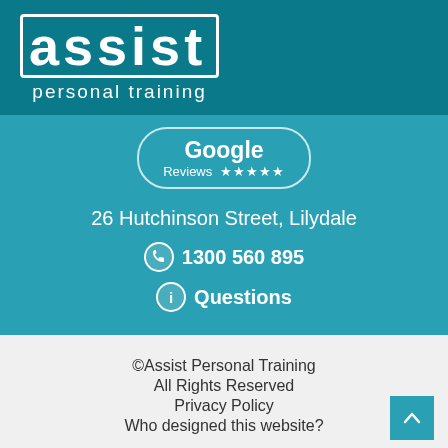[Figure (logo): ASSIST personal training logo — white bold text 'assist' in rounded rectangle border, with 'personal training' below, on dark teal background]
[Figure (infographic): Google Reviews 5-star badge in rounded rectangle outline on teal background]
26 Hutchinson Street, Lilydale
1300 560 895
Questions
©Assist Personal Training
All Rights Reserved
Privacy Policy
Who designed this website?